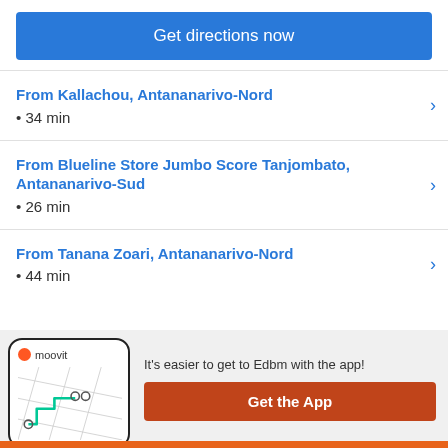Get directions now
From Kallachou, Antananarivo-Nord • 34 min
From Blueline Store Jumbo Score Tanjombato, Antananarivo-Sud • 26 min
From Tanana Zoari, Antananarivo-Nord • 44 min
[Figure (screenshot): Moovit app screenshot showing map route navigation]
It's easier to get to Edbm with the app!
Get the App